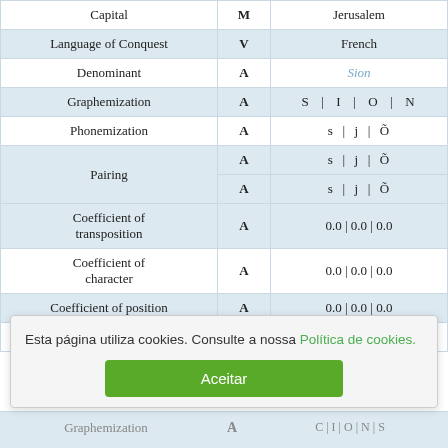|  |  |  |
| --- | --- | --- |
| Capital | M | Jerusalem |
| Language of Conquest | V | French |
| Denominant | A | Sion |
| Graphemization | A | S | I | O | N |
| Phonemization | A | s | j | Õ |
| Pairing | A | s | j | Õ |
| Pairing | A | s | j | Õ |
| Coefficient of transposition | A | 0.0 | 0.0 | 0.0 |
| Coefficient of character | A | 0.0 | 0.0 | 0.0 |
| Coefficient of position | A | 0.0 | 0.0 | 0.0 |
| Addends | A | 0.0 | 0.0 | 0.0 |
| Graphemization | A | C | I | O | N | S |
Esta página utiliza cookies. Consulte a nossa Política de cookies.